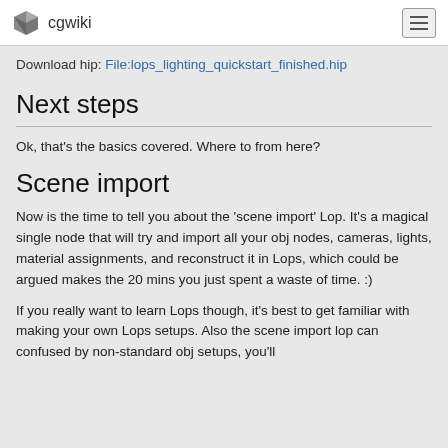cgwiki
Download hip: File:lops_lighting_quickstart_finished.hip
Next steps
Ok, that's the basics covered. Where to from here?
Scene import
Now is the time to tell you about the 'scene import' Lop. It's a magical single node that will try and import all your obj nodes, cameras, lights, material assignments, and reconstruct it in Lops, which could be argued makes the 20 mins you just spent a waste of time. :)
If you really want to learn Lops though, it's best to get familiar with making your own Lops setups. Also the scene import lop can confused by non-standard obj setups, you'll